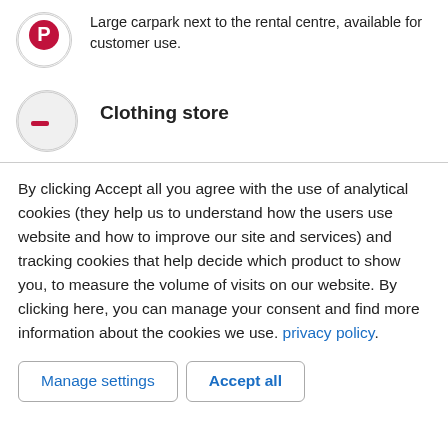Large carpark next to the rental centre, available for customer use.
Clothing store
By clicking Accept all you agree with the use of analytical cookies (they help us to understand how the users use website and how to improve our site and services) and tracking cookies that help decide which product to show you, to measure the volume of visits on our website. By clicking here, you can manage your consent and find more information about the cookies we use. privacy policy.
Manage settings
Accept all